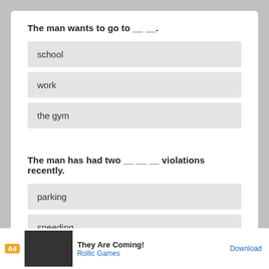The man wants to go to __ __.
school
work
the gym
The man has had two __ __ __ violations recently.
parking
speeding
sea...